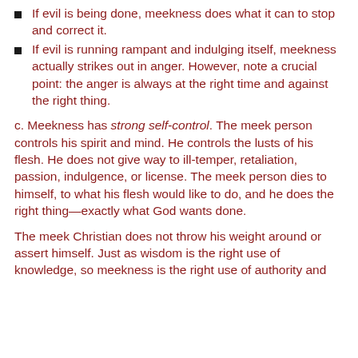If evil is being done, meekness does what it can to stop and correct it.
If evil is running rampant and indulging itself, meekness actually strikes out in anger. However, note a crucial point: the anger is always at the right time and against the right thing.
c. Meekness has strong self-control. The meek person controls his spirit and mind. He controls the lusts of his flesh. He does not give way to ill-temper, retaliation, passion, indulgence, or license. The meek person dies to himself, to what his flesh would like to do, and he does the right thing—exactly what God wants done.
The meek Christian does not throw his weight around or assert himself. Just as wisdom is the right use of knowledge, so meekness is the right use of authority and